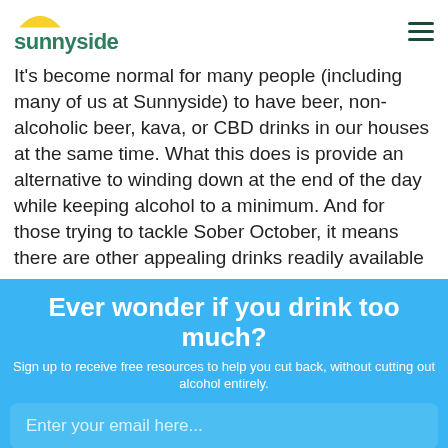sunnyside
It's become normal for many people (including many of us at Sunnyside) to have beer, non-alcoholic beer, kava, or CBD drinks in our houses at the same time. What this does is provide an alternative to winding down at the end of the day while keeping alcohol to a minimum. And for those trying to tackle Sober October, it means there are other appealing drinks readily available
Ever wonder if you drink too much?
Sign up to receive free resources to help you cut back, without cutting out alcohol entirely.
Enter your email here...
GIVE ME TIPS